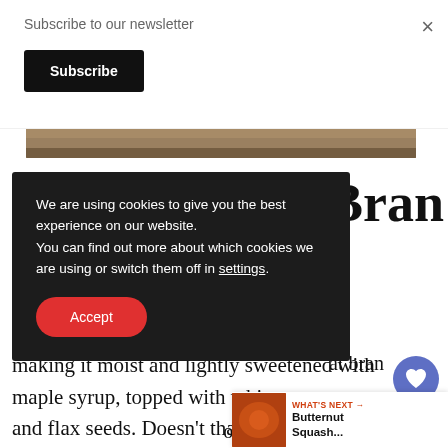Subscribe to our newsletter
Subscribe
[Figure (photo): Partial view of a baked bread or muffin, brown tones, cropped strip]
We are using cookies to give you the best experience on our website. You can find out more about which cookies we are using or switch them off in settings.
Accept
Bran
making it moist and lightly sweetened with maple syrup, topped with white sesa and flax seeds. Doesn't that sound a
[Figure (photo): Small thumbnail of a butternut squash dish]
WHAT'S NEXT → Butternut Squash...